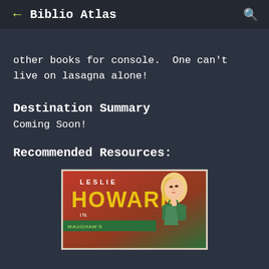← Biblio Atlas 🔍
other books for console.  One can't live on lasagna alone!
Destination Summary
Coming Soon!
Recommended Resources:
[Figure (photo): Movie poster showing 'LESLIE HOWARD' in large text, with an illustrated woman with blonde hair in a green dress. Partial text at bottom reads 'MAUGHAM'S'.]